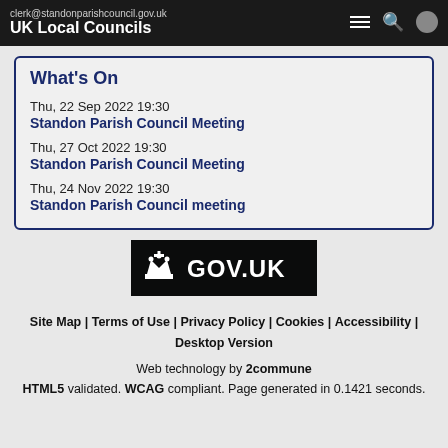clerk@standonparishcouncil.gov.uk
UK Local Councils
What's On
Thu, 22 Sep 2022 19:30
Standon Parish Council Meeting
Thu, 27 Oct 2022 19:30
Standon Parish Council Meeting
Thu, 24 Nov 2022 19:30
Standon Parish Council meeting
[Figure (logo): GOV.UK logo on black background with crown icon]
Site Map | Terms of Use | Privacy Policy | Cookies | Accessibility | Desktop Version
Web technology by 2commune
HTML5 validated. WCAG compliant. Page generated in 0.1421 seconds.